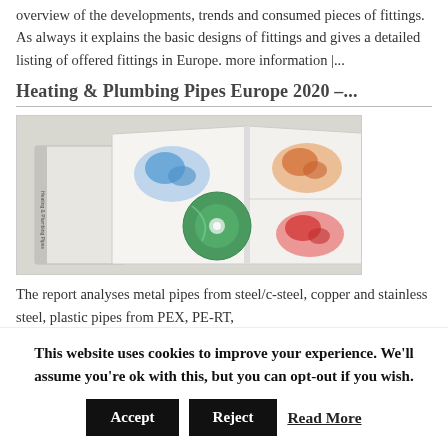overview of the developments, trends and consumed pieces of fittings. As always it explains the basic designs of fittings and gives a detailed listing of offered fittings in Europe. more information |...
Heating & Plumbing Pipes Europe 2020 –...
[Figure (photo): A photograph of an open book with European map illustrations and a CD/DVD disc, alongside another book cover labeled 'Heating & Plumbing Pipes']
The report analyses metal pipes from steel/c-steel, copper and stainless steel, plastic pipes from PEX, PE-RT,
This website uses cookies to improve your experience. We'll assume you're ok with this, but you can opt-out if you wish.
Accept  Reject  Read More